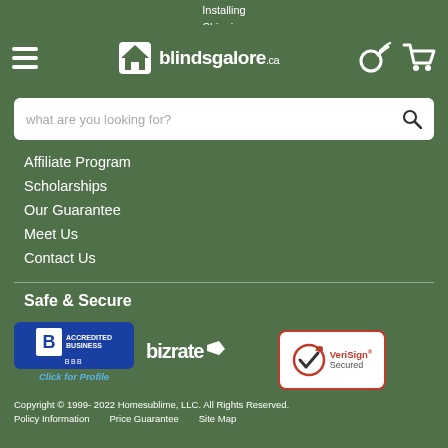Installing
Shipping
[Figure (logo): blindsgalore.ca logo with house icon, hamburger menu, phone and cart icons]
[Figure (screenshot): Search bar with placeholder text 'what are you looking for?']
Affiliate Program
Scholarships
Our Guarantee
Meet Us
Contact Us
Safe & Secure
[Figure (logo): BBB Accredited Business badge]
[Figure (logo): Bizrate logo with flag]
[Figure (logo): VeriSign Secured badge with checkmark]
Copyright © 1999- 2022 Homesublime, LLC. All Rights Reserved.
Policy Information    Price Guarantee    Site Map